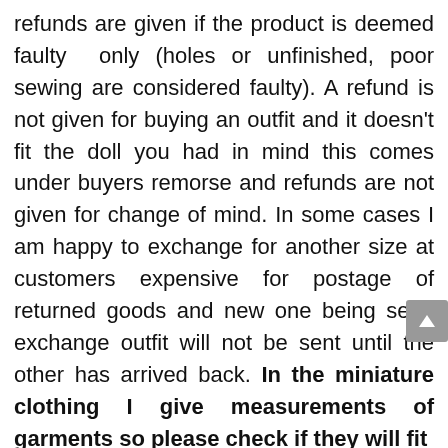refunds are given if the product is deemed faulty  only (holes or unfinished, poor sewing are considered faulty). A refund is not given for buying an outfit and it doesn't fit the doll you had in mind this comes under buyers remorse and refunds are not given for change of mind. In some cases I am happy to exchange for another size at customers expensive for postage of returned goods and new one being sent. exchange outfit will not be sent until the other has arrived back. In the miniature clothing I give measurements of garments so please check if they will fit